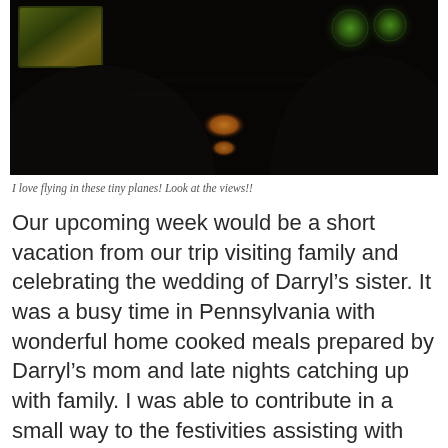[Figure (photo): Dark cockpit interior photo of a small plane, showing silhouettes of pilots, illuminated instrument panels with green glowing gauges on the right, amber instrument lights in the center, and a city lights view through the left window at night.]
I love flying in these tiny planes! Look at the views!!
Our upcoming week would be a short vacation from our trip visiting family and celebrating the wedding of Darryl’s sister. It was a busy time in Pennsylvania with wonderful home cooked meals prepared by Darryl’s mom and late nights catching up with family. I was able to contribute in a small way to the festivities assisting with the flower arrangements. One of the highlights for me was spending an afternoon in a family friend’s flower